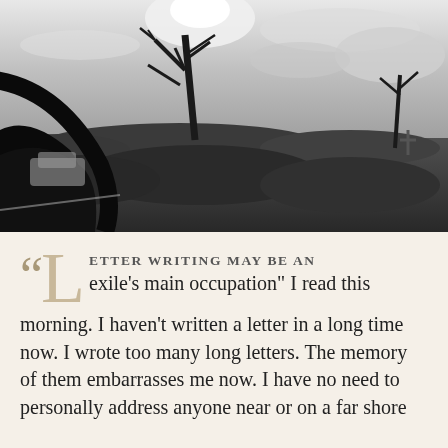[Figure (photo): Black and white landscape photograph showing dead bare trees against a dramatic cloudy sky, with scrubby vegetation in the foreground. A car side mirror is visible in the lower left, reflecting a vehicle on a road.]
"LETTER WRITING MAY BE AN exile's main occupation" I read this morning. I haven't written a letter in a long time now. I wrote too many long letters. The memory of them embarrasses me now. I have no need to personally address anyone near or on a far shore